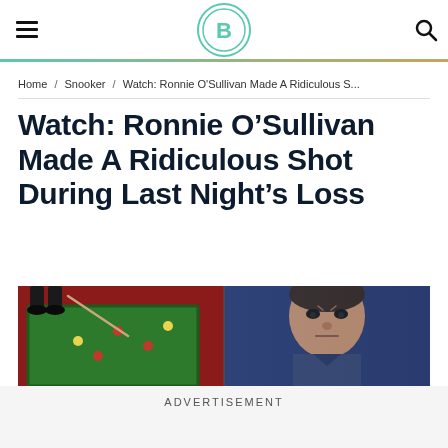Ib [logo] [hamburger menu] [search icon]
Home / Snooker / Watch: Ronnie O'Sullivan Made A Ridiculous S...
Watch: Ronnie O’Sullivan Made A Ridiculous Shot During Last Night’s Loss
[Figure (photo): Split composite image: left side shows a snooker table with green baize from above/side angle with red carpet surroundings; right side shows a close-up of a man's face (Ronnie O'Sullivan) looking intense against a blue-tinted background.]
ADVERTISEMENT